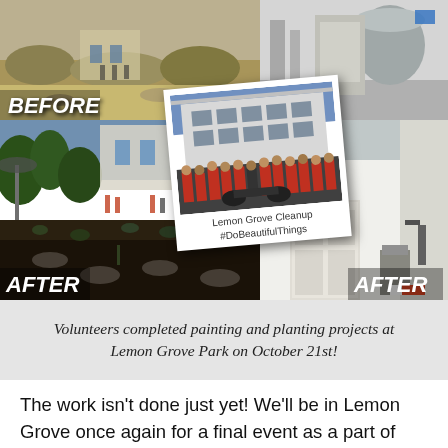[Figure (photo): Before/After photo collage of Lemon Grove Park cleanup project. Top left: 'BEFORE' label over a dry, sparse landscape. Top right: interior of a facility bathroom/utility room before cleanup. Middle left: 'AFTER' label over newly planted garden with dark soil and small plants. Middle right: 'AFTER' label over freshly painted white building exterior. Center: Polaroid-style photo of a large group of volunteers in red shirts in front of a building, captioned 'Lemon Grove Cleanup #DoBeautifulThings'.]
Volunteers completed painting and planting projects at Lemon Grove Park on October 21st!
The work isn't done just yet! We'll be in Lemon Grove once again for a final event as a part of this grant program. On Saturday, November 4th, we are